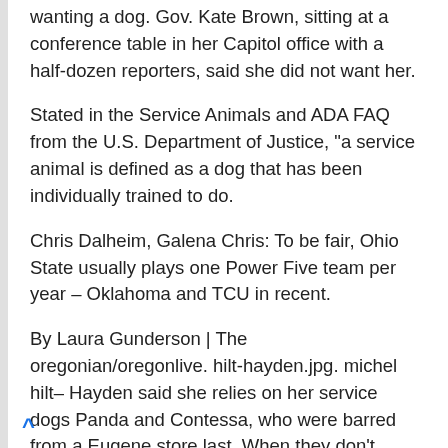wanting a dog. Gov. Kate Brown, sitting at a conference table in her Capitol office with a half-dozen reporters, said she did not want her.
Stated in the Service Animals and ADA FAQ from the U.S. Department of Justice, "a service animal is defined as a dog that has been individually trained to do.
Chris Dalheim, Galena Chris: To be fair, Ohio State usually plays one Power Five team per year – Oklahoma and TCU in recent.
By Laura Gunderson | The oregonian/oregonlive. hilt-hayden.jpg. michel hilt– Hayden said she relies on her service dogs Panda and Contessa, who were barred from a Eugene store last. When they don't, they get sued.
^